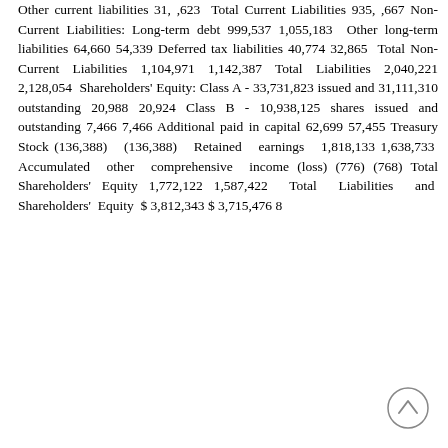Other current liabilities 31, ,623 Total Current Liabilities 935, ,667 Non-Current Liabilities: Long-term debt 999,537 1,055,183 Other long-term liabilities 64,660 54,339 Deferred tax liabilities 40,774 32,865 Total Non-Current Liabilities 1,104,971 1,142,387 Total Liabilities 2,040,221 2,128,054 Shareholders' Equity: Class A - 33,731,823 issued and 31,111,310 outstanding 20,988 20,924 Class B - 10,938,125 shares issued and outstanding 7,466 7,466 Additional paid in capital 62,699 57,455 Treasury Stock (136,388) (136,388) Retained earnings 1,818,133 1,638,733 Accumulated other comprehensive income (loss) (776) (768) Total Shareholders' Equity 1,772,122 1,587,422 Total Liabilities and Shareholders' Equity $ 3,812,343 $ 3,715,476 8
[Figure (other): Scroll-to-top button: circle with upward chevron arrow]